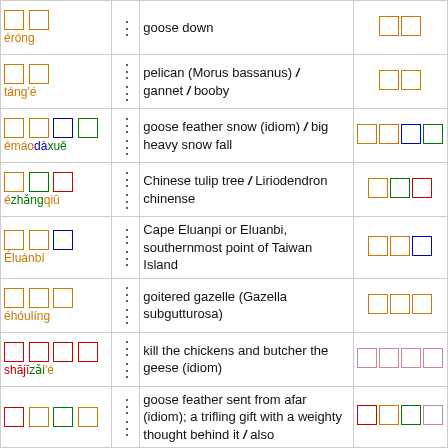| Chinese | dots | Definition | Characters |
| --- | --- | --- | --- |
| □□ / éróng | ⋮ | goose down | □□ |
| □□ / táng'é | ⋮⋮ | pelican (Morus bassanus) / gannet / booby | □□ |
| □□□□ / émáodàxuě | ⋮⋮ | goose feather snow (idiom) / big heavy snow fall | □□□□ |
| □□□ / ézhǎngqiū | ⋮⋮ | Chinese tulip tree / Liriodendron chinense | □□□ |
| □□□ / Éluánbí | ⋮⋮ | Cape Eluanpi or Eluanbi, southernmost point of Taiwan Island | □□□ |
| □□□ / éhóulíng | ⋮⋮ | goitered gazelle (Gazella subgutturosa) | □□□ |
| □□□□ / shājīzǎi'é | ⋮⋮ | kill the chickens and butcher the geese (idiom) | □□□□ |
| □□□□ | ⋮⋮ | goose feather sent from afar (idiom); a trifling gift with a weighty thought behind it / also | □□□□ |